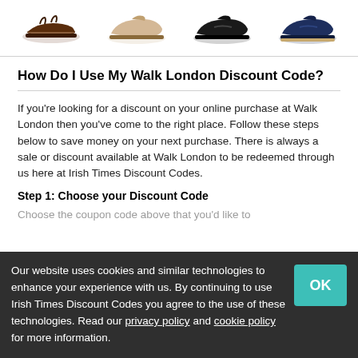[Figure (photo): Row of four shoe product images: brown sandal/slide, beige loafer, black loafer, navy loafer]
How Do I Use My Walk London Discount Code?
If you're looking for a discount on your online purchase at Walk London then you've come to the right place. Follow these steps below to save money on your next purchase. There is always a sale or discount available at Walk London to be redeemed through us here at Irish Times Discount Codes.
Step 1: Choose your Discount Code
Choose the coupon code above that you'd like to...
Our website uses cookies and similar technologies to enhance your experience with us. By continuing to use Irish Times Discount Codes you agree to the use of these technologies. Read our privacy policy and cookie policy for more information.